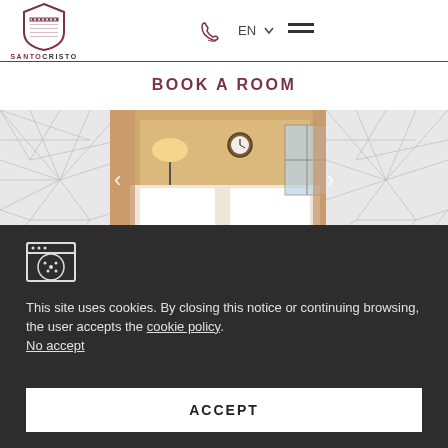[Figure (logo): Santo Cristo hotel logo - shield with crown dots and text SANTOCRISTO]
[Figure (illustration): Phone icon, EN language selector with dropdown chevron, and hamburger menu icon in the header]
BOOK A ROOM
[Figure (photo): Hotel room photo showing a bed with white linens, lamp, wall clock, and window with curtains. Geometric triangle pattern decorates the left and right sides of the image area. Left and right navigation arrows for image carousel.]
This site uses cookies. By closing this notice or continuing browsing, the user accepts the cookie policy.
No accept
ACCEPT